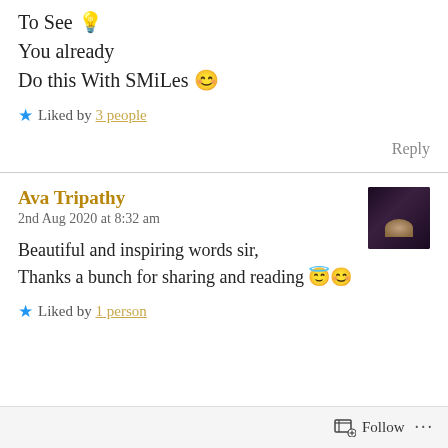To See 💡
You already
Do this With SMiLes 😊
★ Liked by 3 people
Reply
Ava Tripathy
2nd Aug 2020 at 8:32 am
Beautiful and inspiring words sir,
Thanks a bunch for sharing and reading 😇😊
★ Liked by 1 person
Follow